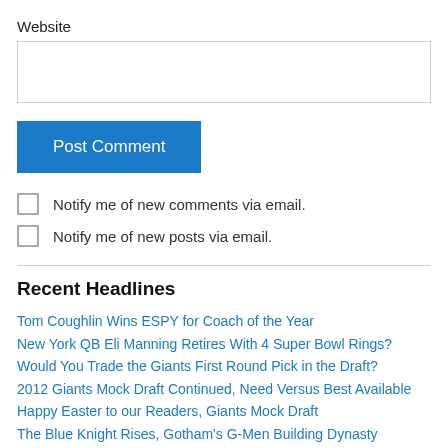Website
[Figure (other): Text input field for website URL]
Post Comment
Notify me of new comments via email.
Notify me of new posts via email.
Recent Headlines
Tom Coughlin Wins ESPY for Coach of the Year
New York QB Eli Manning Retires With 4 Super Bowl Rings?
Would You Trade the Giants First Round Pick in the Draft?
2012 Giants Mock Draft Continued, Need Versus Best Available
Happy Easter to our Readers, Giants Mock Draft
The Blue Knight Rises, Gotham's G-Men Building Dynasty